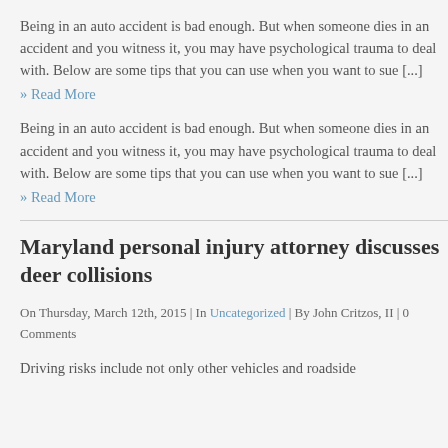Being in an auto accident is bad enough. But when someone dies in an accident and you witness it, you may have psychological trauma to deal with. Below are some tips that you can use when you want to sue [...]
» Read More
Being in an auto accident is bad enough. But when someone dies in an accident and you witness it, you may have psychological trauma to deal with. Below are some tips that you can use when you want to sue [...]
» Read More
Maryland personal injury attorney discusses deer collisions
On Thursday, March 12th, 2015 | In Uncategorized | By John Critzos, II | 0 Comments
Driving risks include not only other vehicles and roadside